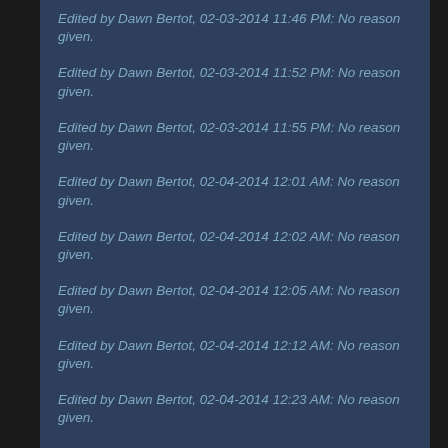Edited by Dawn Bertot, 02-03-2014 11:46 PM: No reason given.
Edited by Dawn Bertot, 02-03-2014 11:52 PM: No reason given.
Edited by Dawn Bertot, 02-03-2014 11:55 PM: No reason given.
Edited by Dawn Bertot, 02-04-2014 12:01 AM: No reason given.
Edited by Dawn Bertot, 02-04-2014 12:02 AM: No reason given.
Edited by Dawn Bertot, 02-04-2014 12:05 AM: No reason given.
Edited by Dawn Bertot, 02-04-2014 12:12 AM: No reason given.
Edited by Dawn Bertot, 02-04-2014 12:23 AM: No reason given.